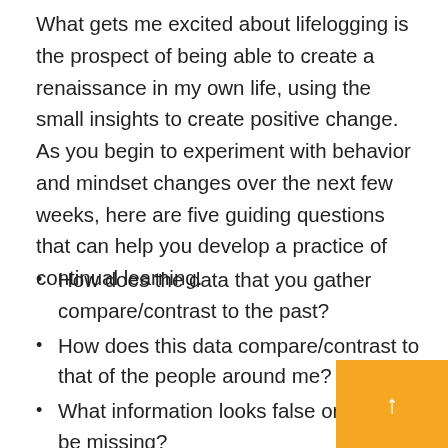What gets me excited about lifelogging is the prospect of being able to create a renaissance in my own life, using the small insights to create positive change. As you begin to experiment with behavior and mindset changes over the next few weeks, here are five guiding questions that can help you develop a practice of continual learning.
How does the data that you gather compare/contrast to the past?
How does this data compare/contrast to that of the people around me?
What information looks false or might be missing?
What factors shaped these outliers or un...